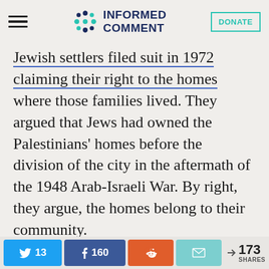INFORMED COMMENT
Jewish settlers filed suit in 1972 claiming their right to the homes where those families lived. They argued that Jews had owned the Palestinians' homes before the division of the city in the aftermath of the 1948 Arab-Israeli War. By right, they argue, the homes belong to their community.

Jewish neighborhoods housing
13 | 160 | share | email | < 173 SHARES